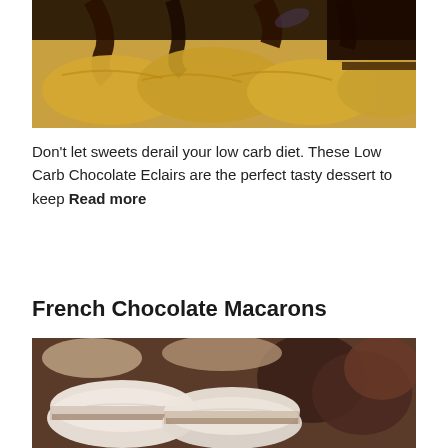[Figure (photo): Close-up photo of Low Carb Chocolate Eclairs with dark chocolate drizzled on top of golden choux pastry]
Don't let sweets derail your low carb diet. These Low Carb Chocolate Eclairs are the perfect tasty dessert to keep Read more
French Chocolate Macarons
[Figure (photo): Close-up photo of French Chocolate Macarons, showing white and brown macaron shells with chocolate filling]